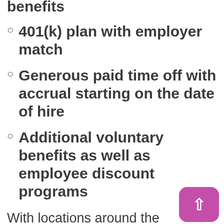benefits
401(k) plan with employer match
Generous paid time off with accrual starting on the date of hire
Additional voluntary benefits as well as employee discount programs
With locations around the state, Hartford HealthCare offers